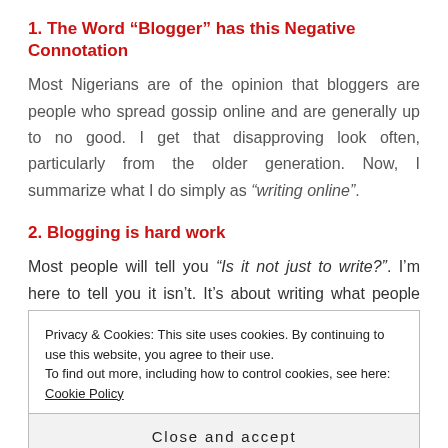1. The Word “Blogger” has this Negative Connotation
Most Nigerians are of the opinion that bloggers are people who spread gossip online and are generally up to no good. I get that disapproving look often, particularly from the older generation. Now, I summarize what I do simply as “writing online”.
2. Blogging is hard work
Most people will tell you “Is it not just to write?”. I’m here to tell you it isn’t. It’s about writing what people want to read and that’s not half as easy as it seems. In the
Privacy & Cookies: This site uses cookies. By continuing to use this website, you agree to their use.
To find out more, including how to control cookies, see here: Cookie Policy
Close and accept
can’t get better. Choosing the right topic or titles to